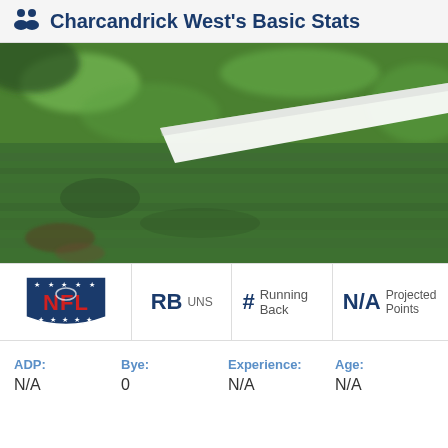Charcandrick West's Basic Stats
[Figure (photo): Close-up photo of a football field showing green grass with a white yard line stripe running diagonally across the frame.]
| Logo | Position | Number | Projected Points |
| --- | --- | --- | --- |
| NFL | RB UNS | # Running Back | N/A Projected Points |
| ADP: | Bye: | Experience: | Age: |
| --- | --- | --- | --- |
| N/A | 0 | N/A | N/A |